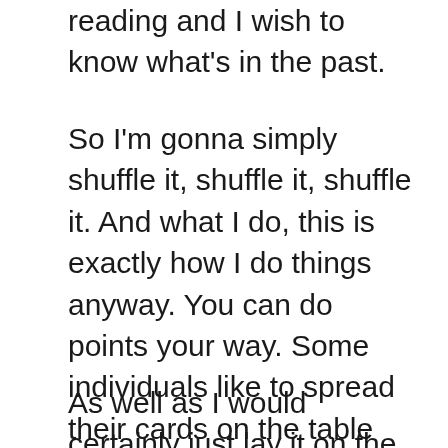reading and I wish to know what's in the past.
So I'm gonna simply shuffle it, shuffle it, shuffle it. And what I do, this is exactly how I do things anyway. You can do points your way. Some individuals like to spread their cards on the table and also pick it. For me, what I like to do is that I would just fan my cards out and I will certainly check out, generally my eyes often tend to be attracted to the cards in the center, as well as I'll choose the one that sticks out one of the most.
As well as I would certainly just lay it on the table. Some individuals lay the cards like, not exposed, lay the cards covered, now in this